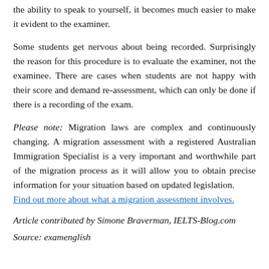the ability to speak to yourself, it becomes much easier to make it evident to the examiner.
Some students get nervous about being recorded. Surprisingly the reason for this procedure is to evaluate the examiner, not the examinee. There are cases when students are not happy with their score and demand re-assessment, which can only be done if there is a recording of the exam.
Please note: Migration laws are complex and continuously changing. A migration assessment with a registered Australian Immigration Specialist is a very important and worthwhile part of the migration process as it will allow you to obtain precise information for your situation based on updated legislation. Find out more about what a migration assessment involves.
Article contributed by Simone Braverman, IELTS-Blog.com
Source: examenglish